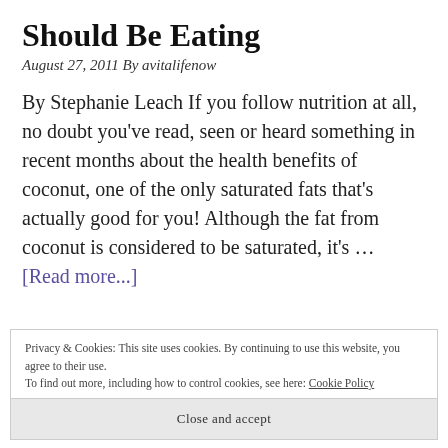Should Be Eating
August 27, 2011 By avitalifenow
By Stephanie Leach If you follow nutrition at all, no doubt you've read, seen or heard something in recent months about the health benefits of coconut, one of the only saturated fats that's actually good for you! Although the fat from coconut is considered to be saturated, it's … [Read more...]
Privacy & Cookies: This site uses cookies. By continuing to use this website, you agree to their use.
To find out more, including how to control cookies, see here: Cookie Policy
Close and accept